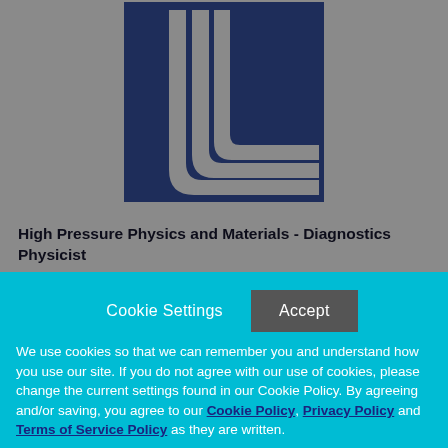[Figure (logo): Lawrence Livermore National Laboratory logo - dark navy blue square with stylized curved L shapes in gray/silver on a gray background]
High Pressure Physics and Materials - Diagnostics Physicist
Cookie Settings  Accept
We use cookies so that we can remember you and understand how you use our site. If you do not agree with our use of cookies, please change the current settings found in our Cookie Policy. By agreeing and/or saving, you agree to our Cookie Policy, Privacy Policy and Terms of Service Policy as they are written.